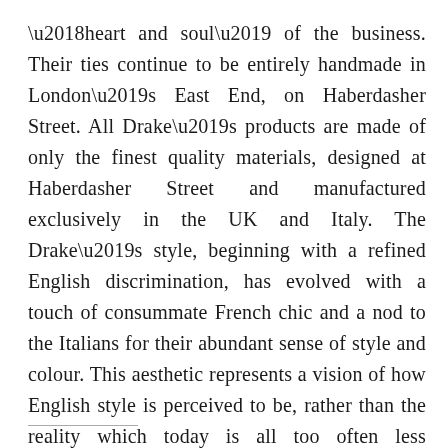‘heart and soul’ of the business. Their ties continue to be entirely handmade in London’s East End, on Haberdasher Street. All Drake’s products are made of only the finest quality materials, designed at Haberdasher Street and manufactured exclusively in the UK and Italy. The Drake’s style, beginning with a refined English discrimination, has evolved with a touch of consummate French chic and a nod to the Italians for their abundant sense of style and colour. This aesthetic represents a vision of how English style is perceived to be, rather than the reality which today is all too often less inspiring.